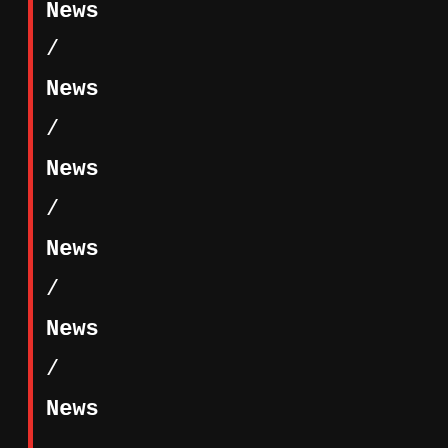News
/
News
/
News
/
News
/
News
/
News
/
News
/
News
/
Our Obsessions
/
Our Obsessions